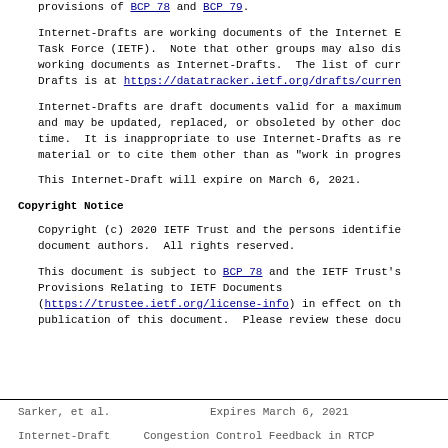provisions of BCP 78 and BCP 79.
Internet-Drafts are working documents of the Internet Engineering Task Force (IETF). Note that other groups may also distribute working documents as Internet-Drafts. The list of current Internet-Drafts is at https://datatracker.ietf.org/drafts/current/.
Internet-Drafts are draft documents valid for a maximum of six months and may be updated, replaced, or obsoleted by other documents at any time. It is inappropriate to use Internet-Drafts as reference material or to cite them other than as "work in progress".
This Internet-Draft will expire on March 6, 2021.
Copyright Notice
Copyright (c) 2020 IETF Trust and the persons identified as the document authors. All rights reserved.
This document is subject to BCP 78 and the IETF Trust's Legal Provisions Relating to IETF Documents (https://trustee.ietf.org/license-info) in effect on the date of publication of this document. Please review these documents carefully.
Sarker, et al.               Expires March 6, 2021
Internet-Draft      Congestion Control Feedback in RTCP